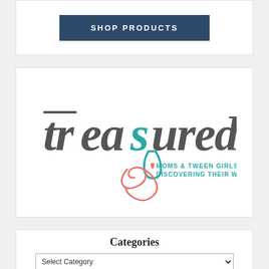[Figure (other): SHOP PRODUCTS button — dark navy rectangle with white uppercase text]
[Figure (logo): Treasured logo — handwritten script 'treasured' in dark gray with teal 's', coral swirl and heart, tagline 'MOMS & TWEEN GIRLS DISCOVERING THEIR WORTH.' in teal uppercase]
Categories
Select Category